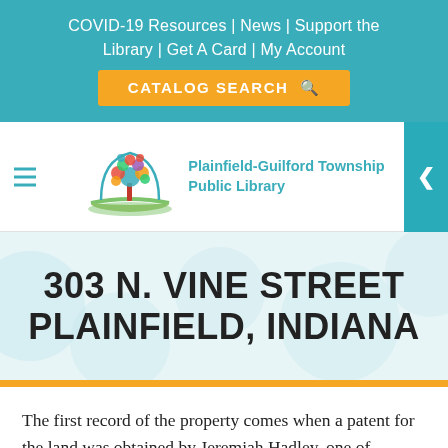COVID-19 Resources | News | Support the Library | Get A Card | My Account
[Figure (screenshot): Catalog Search button with orange background and magnifying glass icon]
[Figure (logo): Plainfield-Guilford Township Public Library logo with colorful tree and open book, teal text]
303 N. VINE STREET PLAINFIELD, INDIANA
The first record of the property comes when a patent for the land was obtained by Jeremiah Hadley, one of